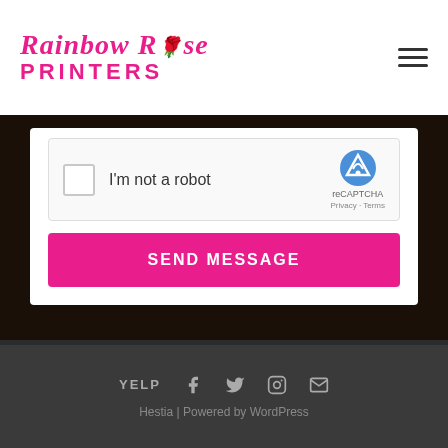Rainbow Rose PRINTERS
[Figure (screenshot): reCAPTCHA widget with checkbox and 'I'm not a robot' text, reCAPTCHA logo with Privacy and Terms links]
SEND MESSAGE
YELP [Facebook] [Twitter] [Instagram] [Email] Hestia | Powered by WordPress